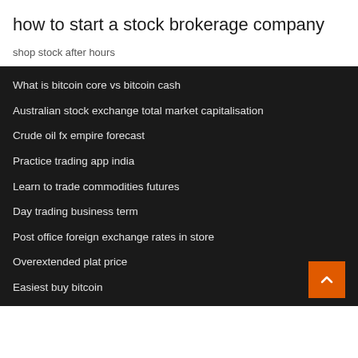how to start a stock brokerage company
shop stock after hours
What is bitcoin core vs bitcoin cash
Australian stock exchange total market capitalisation
Crude oil fx empire forecast
Practice trading app india
Learn to trade commodities futures
Day trading business term
Post office foreign exchange rates in store
Overextended plat price
Easiest buy bitcoin